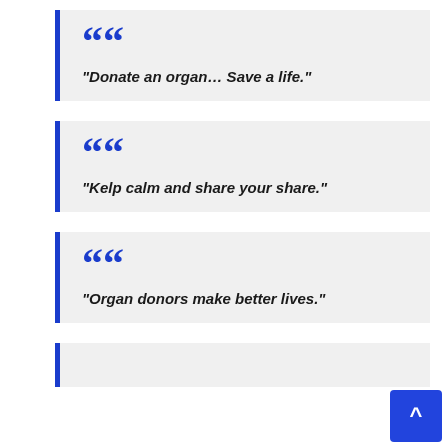“Donate an organ… Save a life.”
“Kelp calm and share your share.”
“Organ donors make better lives.”